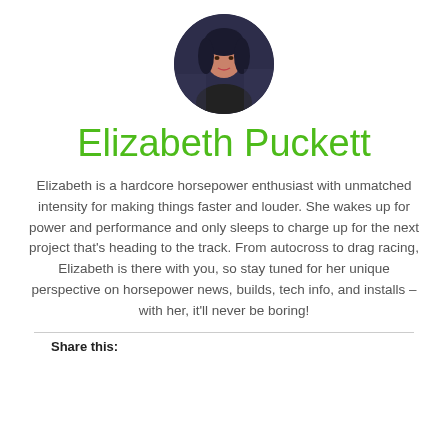[Figure (photo): Circular profile photo of Elizabeth Puckett, a woman with dark hair, sitting in a car]
Elizabeth Puckett
Elizabeth is a hardcore horsepower enthusiast with unmatched intensity for making things faster and louder. She wakes up for power and performance and only sleeps to charge up for the next project that's heading to the track. From autocross to drag racing, Elizabeth is there with you, so stay tuned for her unique perspective on horsepower news, builds, tech info, and installs – with her, it'll never be boring!
Share this: